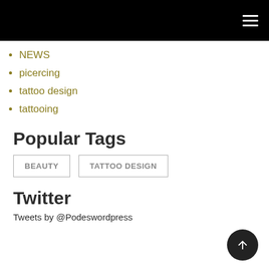NEWS
picercing
tattoo design
tattooing
Popular Tags
BEAUTY   TATTOO DESIGN
Twitter
Tweets by @Podeswordpress